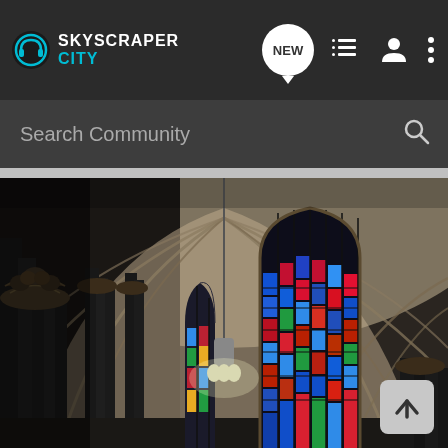[Figure (screenshot): SkyscraperCity app navigation bar with logo, NEW button, list icon, user icon, and more options icon]
Search Community
[Figure (photo): Interior of a Gothic cathedral showing stone columns, ribbed vaulted arches, colorful stained glass windows, and a hanging pendant light fixture. Dark atmospheric photography.]